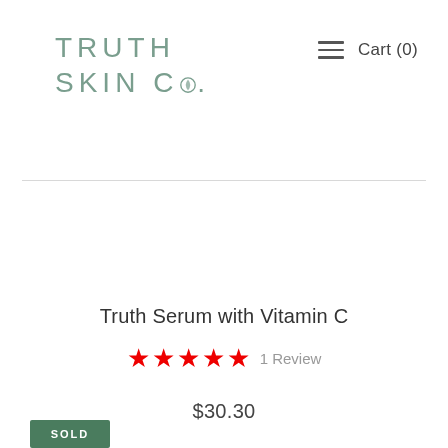TRUTH SKIN CO.
Cart (0)
Truth Serum with Vitamin C
★★★★★ 1 Review
$30.30
SOLD